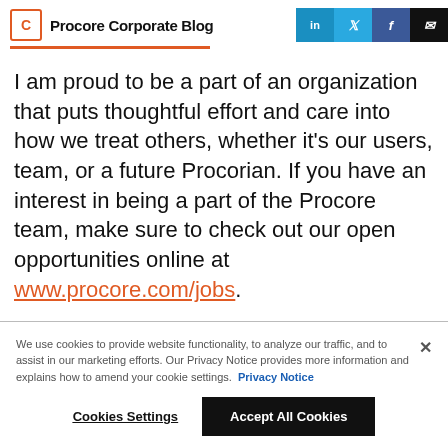Procore Corporate Blog
I am proud to be a part of an organization that puts thoughtful effort and care into how we treat others, whether it's our users, team, or a future Procorian. If you have an interest in being a part of the Procore team, make sure to check out our open opportunities online at www.procore.com/jobs.
We use cookies to provide website functionality, to analyze our traffic, and to assist in our marketing efforts. Our Privacy Notice provides more information and explains how to amend your cookie settings. Privacy Notice
Cookies Settings  Accept All Cookies